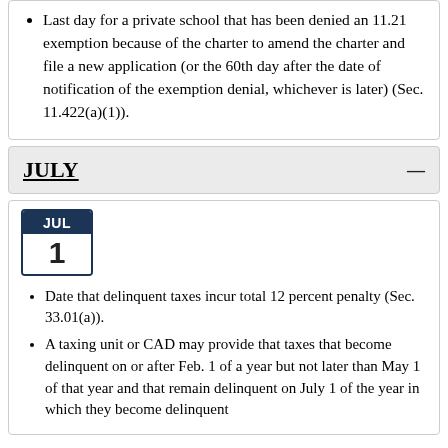Last day for a private school that has been denied an 11.21 exemption because of the charter to amend the charter and file a new application (or the 60th day after the date of notification of the exemption denial, whichever is later) (Sec. 11.422(a)(1)).
JULY
Date that delinquent taxes incur total 12 percent penalty (Sec. 33.01(a)).
A taxing unit or CAD may provide that taxes that become delinquent on or after Feb. 1 of a year but not later than May 1 of that year and that remain delinquent on July 1 of the year in which they become delinquent...